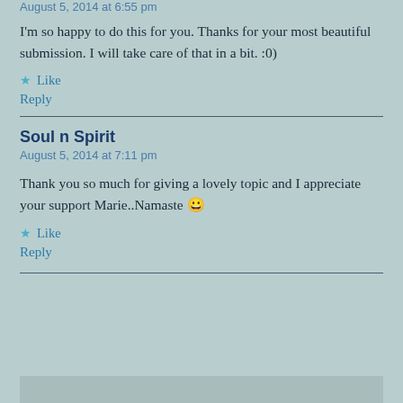August 5, 2014 at 6:55 pm
I'm so happy to do this for you. Thanks for your most beautiful submission. I will take care of that in a bit. :0)
Like
Reply
Soul n Spirit
August 5, 2014 at 7:11 pm
Thank you so much for giving a lovely topic and I appreciate your support Marie..Namaste 😀
Like
Reply